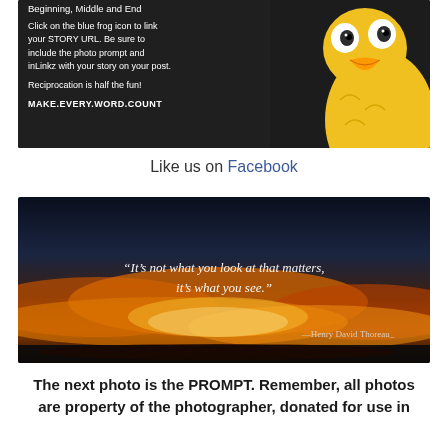[Figure (photo): Dark background image with white text instructions about a story writing challenge, featuring Big Bird character on the right side. Text reads: 'Beginning, Middle and End', 'Click on the blue frog icon to link your STORY URL. Be sure to include the photo prompt and inLinkz with your story on your post.', 'Reciprocation is half the fun!', 'MAKE.EVERY.WORD.COUNT']
Like us on Facebook
[Figure (photo): Dramatic sunset sky with clouds in orange, gold and dark tones. White italic text overlay reads: "It's not what you look at that matters, it's what you see." — Henry David Thoreau_]
The next photo is the PROMPT. Remember, all photos are property of the photographer, donated for use in